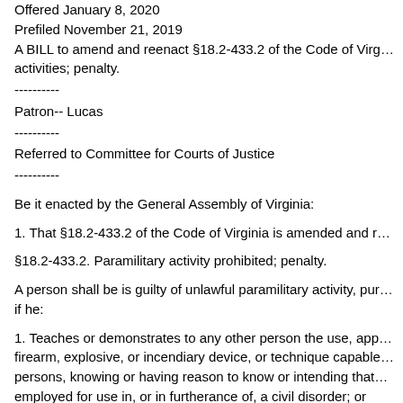Offered January 8, 2020
Prefiled November 21, 2019
A BILL to amend and reenact §18.2-433.2 of the Code of Virginia; activities; penalty.
----------
Patron-- Lucas
----------
Referred to Committee for Courts of Justice
----------
Be it enacted by the General Assembly of Virginia:
1. That §18.2-433.2 of the Code of Virginia is amended and reenacted as follows:
§18.2-433.2. Paramilitary activity prohibited; penalty.
A person shall be is guilty of unlawful paramilitary activity, punishable as a Class 5 felony, if he:
1. Teaches or demonstrates to any other person the use, application, or making of any firearm, explosive, or incendiary device, or technique capable of causing injury or death to persons, knowing or having reason to know or intending that such teaching or demonstration will be employed for use in, or in furtherance of, a civil disorder; or
2. Assembles with one or more persons for the purpose of training with, practicing with, or being instructed in the use of any firearm, explosive, or incendiary device, or technique capable of causing injury or death to persons, intending to employ such training for use in, or in furtherance of, a civil disorder.